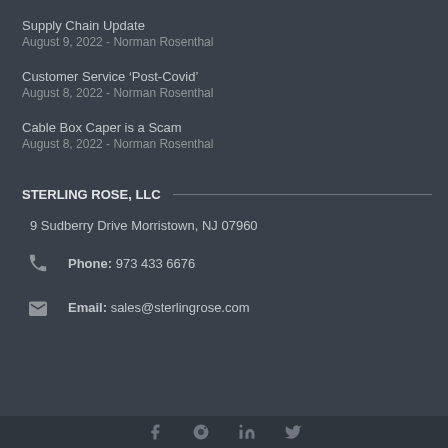Supply Chain Update
August 9, 2022  -  Norman Rosenthal
Customer Service ‘Post-Covid’
August 8, 2022  -  Norman Rosenthal
Cable Box Caper is a Scam
August 8, 2022  -  Norman Rosenthal
STERLING ROSE, LLC
9 Sudberry Drive Morristown, NJ 07960
Phone: 973 433 6676
Email: sales@sterlingrose.com